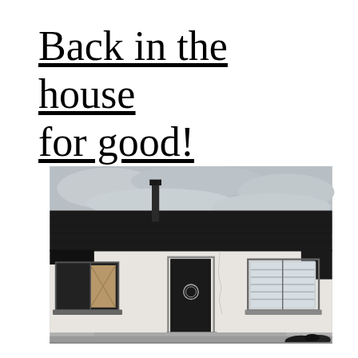Back in the house for good!
[Figure (photo): Exterior photograph of a single-storey white rendered bungalow with a dark tiled roof, a chimney pipe, a dark front door with a circular wreath, one boarded-up window on the left, and a window with blinds on the right. The foreground shows a concrete patio and low wall, with a cloudy grey sky above.]